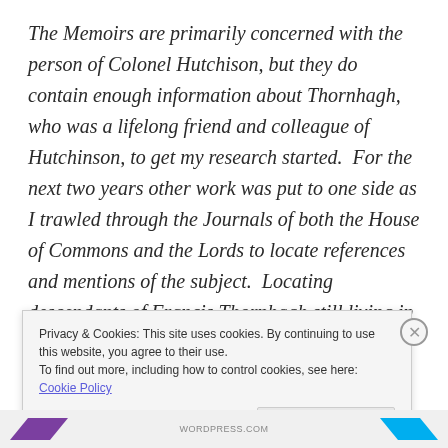The Memoirs are primarily concerned with the person of Colonel Hutchison, but they do contain enough information about Thornhagh, who was a lifelong friend and colleague of Hutchinson, to get my research started.  For the next two years other work was put to one side as I trawled through the Journals of both the House of Commons and the Lords to locate references and mentions of the subject.  Locating descendants of Francis Thornhagh still living in Nottinghamshire opened up another
Privacy & Cookies: This site uses cookies. By continuing to use this website, you agree to their use.
To find out more, including how to control cookies, see here: Cookie Policy
Close and accept